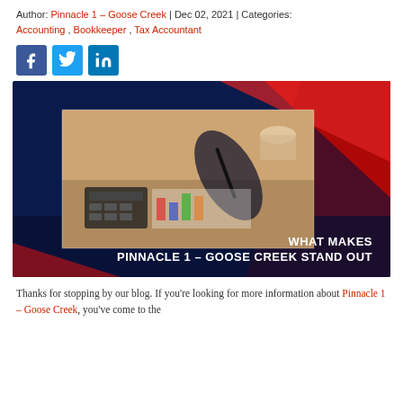Author: Pinnacle 1 – Goose Creek | Dec 02, 2021 | Categories: Accounting , Bookkeeper , Tax Accountant
[Figure (infographic): Social media share icons: Facebook (blue), Twitter (light blue), LinkedIn (blue)]
[Figure (photo): Hero image with dark blue and red background showing a person writing on financial charts with a calculator nearby. Text overlay reads: WHAT MAKES PINNACLE 1 – GOOSE CREEK STAND OUT]
Thanks for stopping by our blog. If you're looking for more information about Pinnacle 1 – Goose Creek, you've come to the